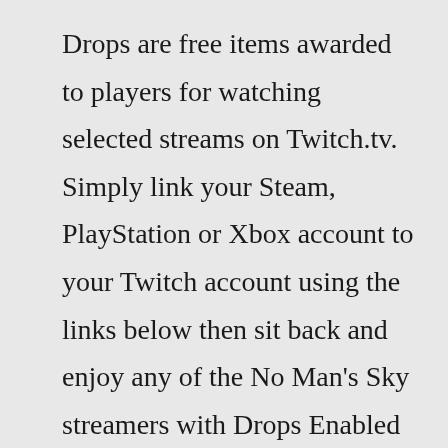Drops are free items awarded to players for watching selected streams on Twitch.tv. Simply link your Steam, PlayStation or Xbox account to your Twitch account using the links below then sit back and enjoy any of the No Man's Sky streamers with Drops Enabled from Thursday July 21st to Monday July 25th. See below for more details. manucure paris 20 A-Class: Can have up to one fewer slots than the